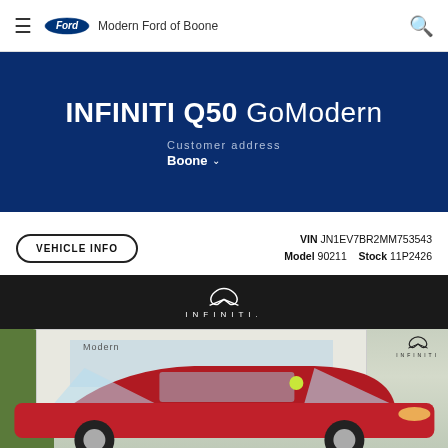Modern Ford of Boone
INFINITI Q50 GoModern
Customer address Boone
VEHICLE INFO   VIN JN1EV7BR2MM753543   Model 90211   Stock 11P2426
[Figure (photo): Red INFINITI Q50 sedan parked in front of Modern Infiniti dealership building, shown under INFINITI logo branding banner]